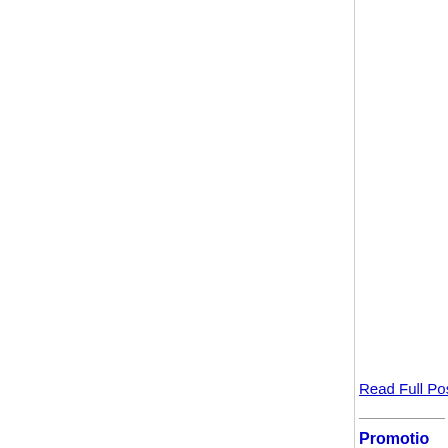Read Full Post
Promotio
Posted on Febr